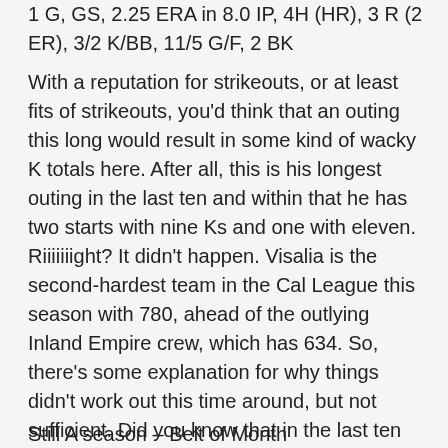1 G, GS, 2.25 ERA in 8.0 IP, 4H (HR), 3 R (2 ER), 3/2 K/BB, 11/5 G/F, 2 BK
With a reputation for strikeouts, or at least fits of strikeouts, you'd think that an outing this long would result in some kind of wacky K totals here. After all, this is his longest outing in the last ten and within that he has two starts with nine Ks and one with eleven. Riiiiiiight? It didn't happen. Visalia is the second-hardest team in the Cal League this season with 780, ahead of the outlying Inland Empire crew, which has 634. So, there's some explanation for why things didn't work out this time around, but not sufficient. Did you know that in the last ten appearances, Elias has had an average against of under .150 four times and one over .300 four times. Roenis Elias: not a big fan of the middle ground.
Still A season – Belt of Month